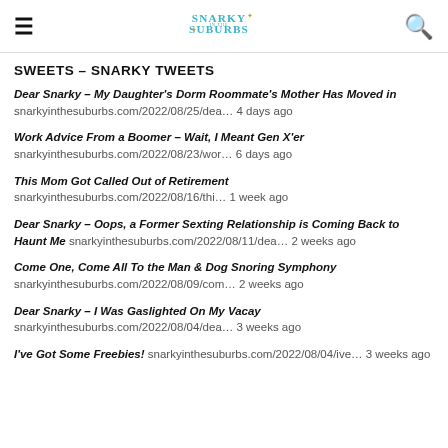Snarky in the Suburbs
SWEETS – SNARKY TWEETS
Dear Snarky – My Daughter's Dorm Roommate's Mother Has Moved in snarkyinthesuburbs.com/2022/08/25/dea… 4 days ago
Work Advice From a Boomer – Wait, I Meant Gen X'er snarkyinthesuburbs.com/2022/08/23/wor… 6 days ago
This Mom Got Called Out of Retirement snarkyinthesuburbs.com/2022/08/16/thi… 1 week ago
Dear Snarky – Oops, a Former Sexting Relationship is Coming Back to Haunt Me snarkyinthesuburbs.com/2022/08/11/dea… 2 weeks ago
Come One, Come All To the Man & Dog Snoring Symphony snarkyinthesuburbs.com/2022/08/09/com… 2 weeks ago
Dear Snarky – I Was Gaslighted On My Vacay snarkyinthesuburbs.com/2022/08/04/dea… 3 weeks ago
I've Got Some Freebies! snarkyinthesuburbs.com/2022/08/04/ive… 3 weeks ago